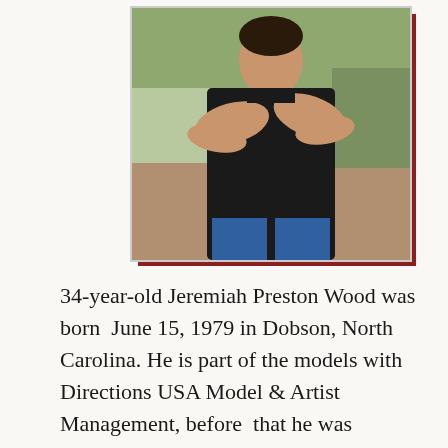[Figure (photo): Photo of Jeremiah Preston Wood, a muscular man with arms crossed wearing a black t-shirt, standing outdoors with natural background]
34-year-old Jeremiah Preston Wood was born  June 15, 1979 in Dobson, North Carolina. He is part of the models with Directions USA Model & Artist Management, before  that he was represented by  Maximum  Talent. He has been in the process of Whispering Pines...